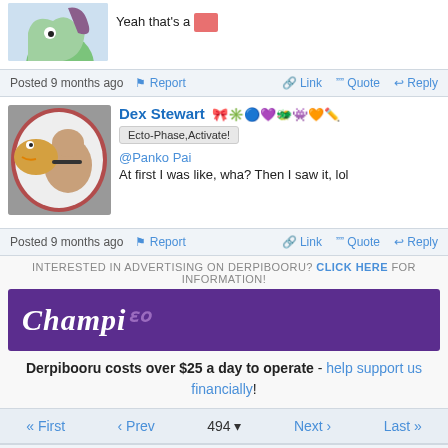[Figure (screenshot): Partial post top with avatar showing green/purple cartoon figure on blue background, text reads 'Yeah that’s a [pink square]']
Posted 9 months ago | Report | Link | Quote | Reply
[Figure (photo): Avatar photo of person with puppet/duck character]
Dex Stewart 👼✳️🔵💜🦄🐲👾✏️ Ecto-Phase,Activate!
@Panko Pai
At first I was like, wha? Then I saw it, lol
Posted 9 months ago | Report | Link | Quote | Reply
INTERESTED IN ADVERTISING ON DERPIBOORU? CLICK HERE FOR INFORMATION!
[Figure (illustration): Purple banner advertisement with 'Champi' text in white italic]
Derpibooru costs over $25 a day to operate - help support us financially!
« First | ‹ Prev | 494 | Next › | Last »
Edit | Preview